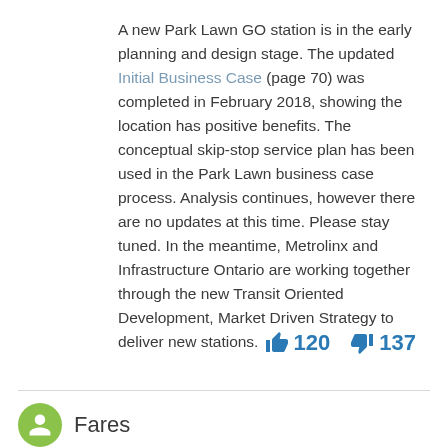A new Park Lawn GO station is in the early planning and design stage. The updated Initial Business Case (page 70) was completed in February 2018, showing the location has positive benefits. The conceptual skip-stop service plan has been used in the Park Lawn business case process. Analysis continues, however there are no updates at this time. Please stay tuned. In the meantime, Metrolinx and Infrastructure Ontario are working together through the new Transit Oriented Development, Market Driven Strategy to deliver new stations.
[Figure (infographic): Like button with count 120 and dislike button with count 137 in blue]
[Figure (infographic): Green circular avatar icon with person silhouette, followed by text 'Fares']